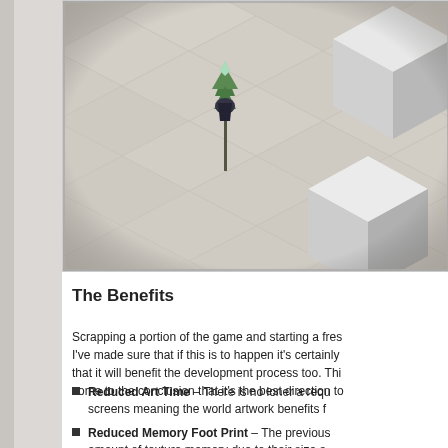[Figure (screenshot): Isometric game screenshot showing a tiled diamond-pattern floor with a small character/tree figure on the left and two white 3D cube blocks - one in the upper right corner and one in the lower center-right area.]
The Benefits
Scrapping a portion of the game and starting a fres... I've made sure that if this is to happen it's certainly... that it will benefit the development process too. Thi... come to the conclusion that it's the best direction to...
Reduced Art Time – There is no loner a requ... screens meaning the world artwork benefits f...
Reduced Memory Foot Print – The previous... amount of texture memory due to their size a...